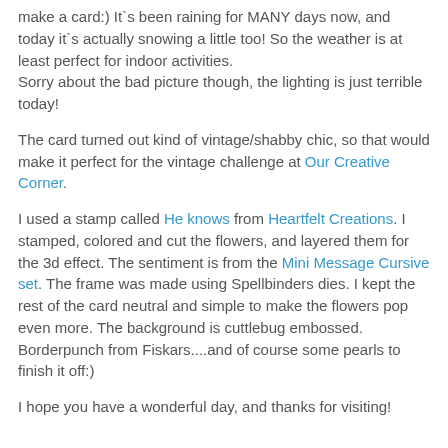make a card:) It`s been raining for MANY days now, and today it`s actually snowing a little too! So the weather is at least perfect for indoor activities.
Sorry about the bad picture though, the lighting is just terrible today!
The card turned out kind of vintage/shabby chic, so that would make it perfect for the vintage challenge at Our Creative Corner.
I used a stamp called He knows from Heartfelt Creations. I stamped, colored and cut the flowers, and layered them for the 3d effect. The sentiment is from the Mini Message Cursive set. The frame was made using Spellbinders dies. I kept the rest of the card neutral and simple to make the flowers pop even more. The background is cuttlebug embossed. Borderpunch from Fiskars....and of course some pearls to finish it off:)
I hope you have a wonderful day, and thanks for visiting!